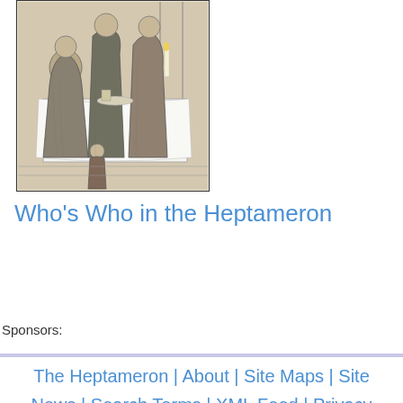[Figure (illustration): Historical engraving or woodcut depicting several robed figures seated around a table with a white tablecloth, candles visible, in a scholarly or religious setting]
Who's Who in the Heptameron
Sponsors:
The Heptameron | About | Site Maps | Site News | Search Terms | XML Feed | Privacy